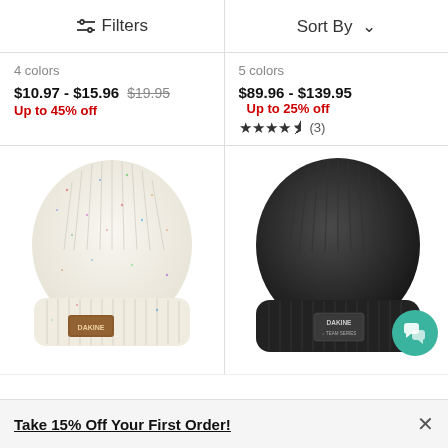Filters | Sort By
4 colors
$10.97 - $15.96 $19.95 Up to 45% off
5 colors
$89.96 - $139.95 Up to 25% off ★★★★½ (3)
[Figure (photo): White speckled knit beanie with brown leather Dakine logo patch on the cuff]
[Figure (photo): Black knit beanie with small Dakine logo patch on the cuff, chat support badge visible in corner]
Take 15% Off Your First Order!